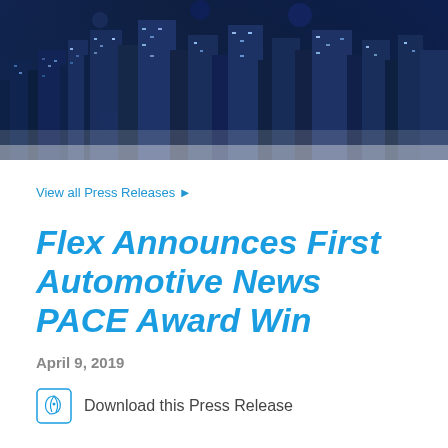[Figure (photo): Dark blue nighttime cityscape with illuminated skyscrapers, used as a hero banner image]
View all Press Releases ▶
Flex Announces First Automotive News PACE Award Win
April 9, 2019
Download this Press Release